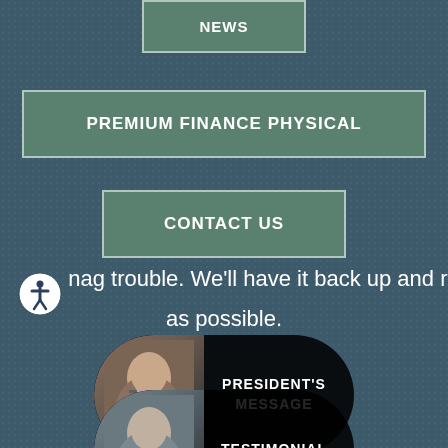NEWS
PREMIUM FINANCE PHYSICAL
CONTACT US
...having trouble. We'll have it back up and running as possible.
[Figure (photo): President's Message card with photo of man in glasses on dark rounded rectangle background]
[Figure (photo): Testimonial card with photo of man on dark rounded rectangle background]